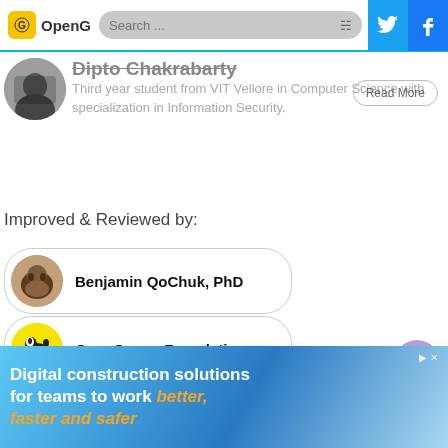[Figure (screenshot): OpenGenus website navigation bar with logo, search bar, Twitter and Facebook icons]
Dipto Chakrabarty
Third year student from VIT Vellore in Computer Science with specialization in Information Security.
Improved & Reviewed by:
Benjamin QoChuk, PhD
OpenGenus Foundation
[Figure (infographic): Advertisement banner: Digital construction solutions for teams to work better, faster and safer]